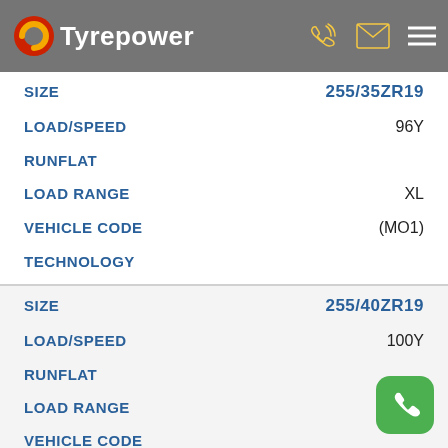Tyrepower
| Field | Value |
| --- | --- |
| SIZE | 255/35ZR19 |
| LOAD/SPEED | 96Y |
| RUNFLAT |  |
| LOAD RANGE | XL |
| VEHICLE CODE | (MO1) |
| TECHNOLOGY |  |
| Field | Value |
| --- | --- |
| SIZE | 255/40ZR19 |
| LOAD/SPEED | 100Y |
| RUNFLAT |  |
| LOAD RANGE | XL |
| VEHICLE CODE |  |